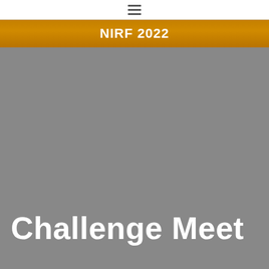≡
NIRF 2022
[Figure (other): Gray background image area for Challenge Meet page]
Challenge Meet